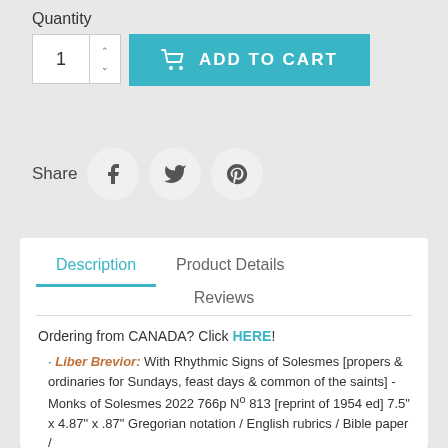Quantity
[Figure (screenshot): Quantity input box with number 1 and up/down arrows, plus a teal 'ADD TO CART' button with shopping cart icon]
Share
[Figure (infographic): Social share buttons: Facebook (f), Twitter (bird), Pinterest (p) icons in circular grey buttons]
Description
Product Details
Reviews
Ordering from CANADA? Click HERE!
· Liber Brevior: With Rhythmic Signs of Solesmes [propers & ordinaries for Sundays, feast days & common of the saints] - Monks of Solesmes 2022 766p Nº 813 [reprint of 1954 ed] 7.5" x 4.87" x .87" Gregorian notation / English rubrics / Bible paper /